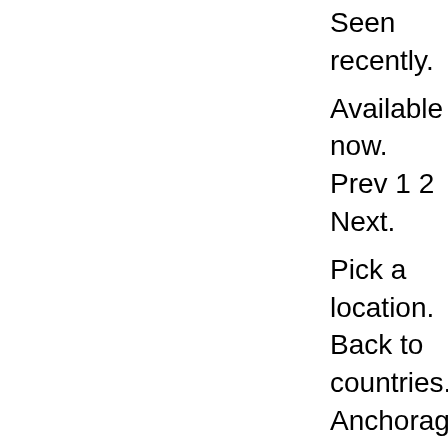Seen recently.
Available now. Prev 1 2 Next.
Pick a location. Back to countries. Anchorage Fairbanks. Fayetteville Little Rock. Boise Idaho Falls Twin Falls. Garden City Topeka Wichita.
Lexington Louisville. Arundel R...